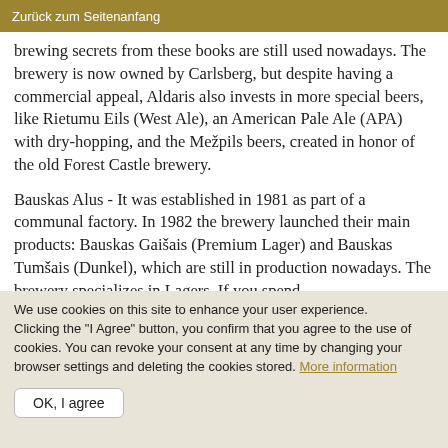Zurück zum Seitenanfang
brewing secrets from these books are still used nowadays. The brewery is now owned by Carlsberg, but despite having a commercial appeal, Aldaris also invests in more special beers, like Rietumu Eils (West Ale), an American Pale Ale (APA) with dry-hopping, and the Mežpils beers, created in honor of the old Forest Castle brewery.
Bauskas Alus - It was established in 1981 as part of a communal factory. In 1982 the brewery launched their main products: Bauskas Gaišais (Premium Lager) and Bauskas Tumšais (Dunkel), which are still in production nowadays. The brewery specializes in Lagers. If you spend
We use cookies on this site to enhance your user experience.
Clicking the "I Agree" button, you confirm that you agree to the use of cookies. You can revoke your consent at any time by changing your browser settings and deleting the cookies stored. More information
OK, I agree